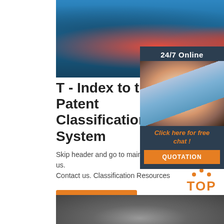[Figure (photo): Blue industrial jaw crusher machines lined up in a factory/warehouse setting]
[Figure (infographic): 24/7 Online chat widget with a female customer service representative wearing a headset, with 'Click here for free chat!' text and QUOTATION button]
T - Index to the U.S. Patent Classification System
Skip header and go to main content. About us. Contact us. Classification Resources
Get Price
[Figure (logo): Orange TOP badge with dots above text]
[Figure (photo): Industrial machinery/equipment in grayscale at the bottom of the page]